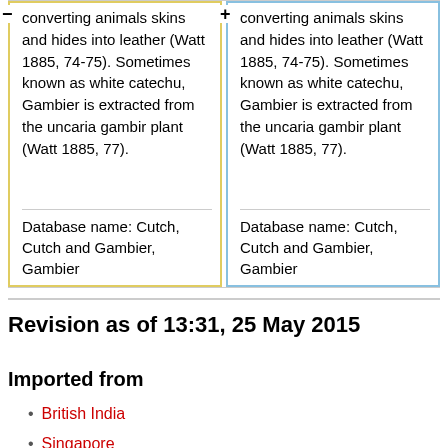| Left column | Right column |
| --- | --- |
| converting animals skins and hides into leather (Watt 1885, 74-75). Sometimes known as white catechu, Gambier is extracted from the uncaria gambir plant (Watt 1885, 77). | converting animals skins and hides into leather (Watt 1885, 74-75). Sometimes known as white catechu, Gambier is extracted from the uncaria gambir plant (Watt 1885, 77). |
|  |  |
| Database name: Cutch, Cutch and Gambier, Gambier | Database name: Cutch, Cutch and Gambier, Gambier |
Revision as of 13:31, 25 May 2015
Imported from
British India
Singapore
Straits Settlements